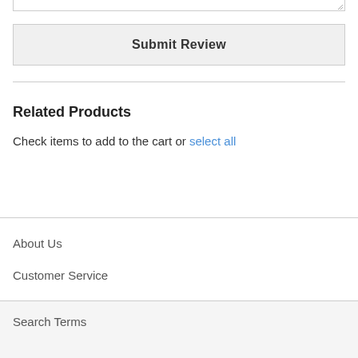[Figure (screenshot): Bottom edge of a textarea input with a resize handle in the lower right corner]
Submit Review
Related Products
Check items to add to the cart or select all
About Us
Customer Service
Search Terms